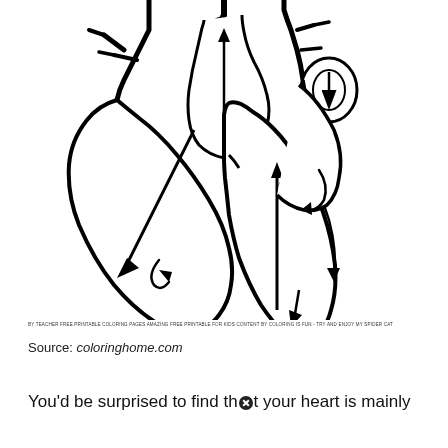[Figure (illustration): Black and white line drawing of a human heart cross-section showing four chambers with arrows indicating blood flow direction. The diagram shows the right and left atria at the top and right and left ventricles below, with vessels (aorta, pulmonary artery/veins, vena cava) entering and leaving. Arrows inside the chambers show the direction of blood flow. A small X-in-circle symbol appears at the top of the pulmonary artery and near the right atrium area.]
BY TEACHER FREE PRINTABLE COLORING PAGES AMAZING FREE PRINTABLE FOR KIDS CONTENT BY COLORING IS FUN - TRY AND ENJOY MY SPIDER CAT
Source: coloringhome.com
You’d be surprised to find that your heart is mainly